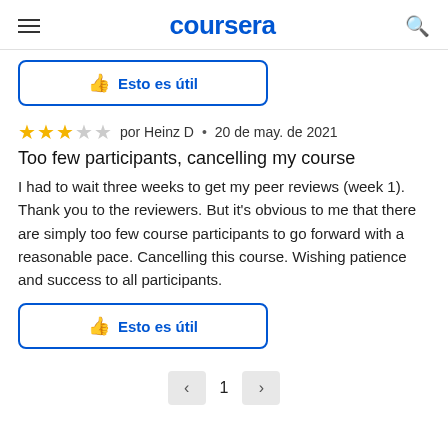coursera
[Figure (other): Blue thumbs-up button with text 'Esto es útil' (top, partially visible)]
★★★☆☆ por Heinz D • 20 de may. de 2021
Too few participants, cancelling my course
I had to wait three weeks to get my peer reviews (week 1). Thank you to the reviewers. But it's obvious to me that there are simply too few course participants to go forward with a reasonable pace. Cancelling this course. Wishing patience and success to all participants.
[Figure (other): Blue thumbs-up button with text 'Esto es útil']
< 1 >